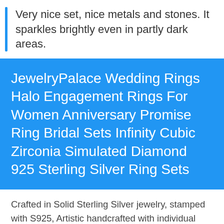Very nice set, nice metals and stones. It sparkles brightly even in partly dark areas.
JewelryPalace Wedding Rings Halo Engagement Rings For Women Anniversary Promise Ring Bridal Sets Infinity Cubic Zirconia Simulated Diamond 925 Sterling Silver Ring Sets
Crafted in Solid Sterling Silver jewelry, stamped with S925, Artistic handcrafted with individual design leads to a versatile fashion atmosphere. From earrings to the bangle bracelet, JewelryPalace strives to offer the best jewelry products at a favorable price for worldwide